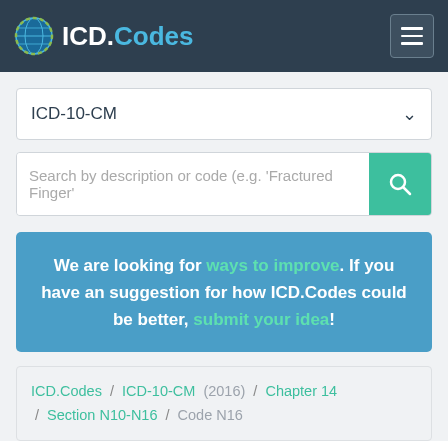ICD.Codes
ICD-10-CM
Search by description or code (e.g. 'Fractured Finger'
We are looking for ways to improve. If you have an suggestion for how ICD.Codes could be better, submit your idea!
ICD.Codes / ICD-10-CM (2016) / Chapter 14 / Section N10-N16 / Code N16
ICD-10-CM Code N16